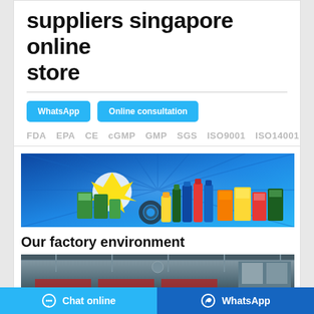suppliers singapore online store
WhatsApp  Online consultation
FDA  EPA  CE  cGMP  GMP  SGS  ISO9001  ISO14001
[Figure (photo): Product banner showing various insecticide and pest control products against a blue background]
Our factory environment
[Figure (photo): Interior photo of factory environment, showing industrial building interior]
Chat online   WhatsApp